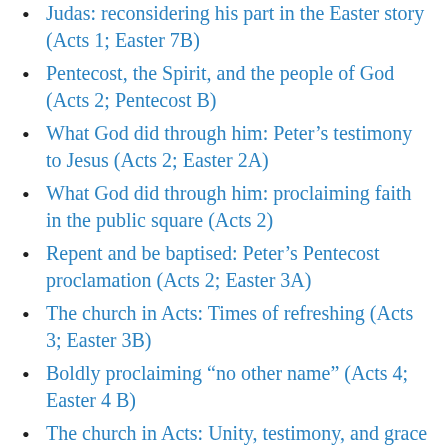Judas: reconsidering his part in the Easter story (Acts 1; Easter 7B)
Pentecost, the Spirit, and the people of God (Acts 2; Pentecost B)
What God did through him: Peter’s testimony to Jesus (Acts 2; Easter 2A)
What God did through him: proclaiming faith in the public square (Acts 2)
Repent and be baptised: Peter’s Pentecost proclamation (Acts 2; Easter 3A)
The church in Acts: Times of refreshing (Acts 3; Easter 3B)
Boldly proclaiming “no other name” (Acts 4; Easter 4 B)
The church in Acts: Unity, testimony, and grace (Acts 4; Easter 2B)
We must obey God rather than human…